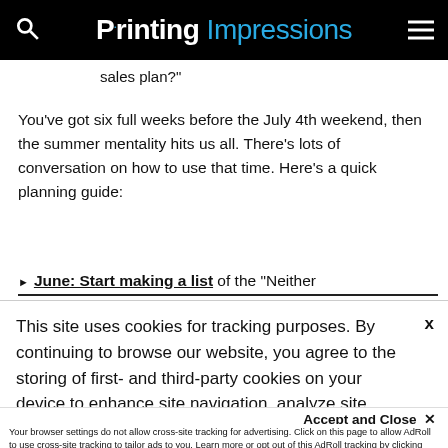Printing Impressions
sales plan?"
You've got six full weeks before the July 4th weekend, then the summer mentality hits us all. There's lots of conversation on how to use that time. Here's a quick planning guide:
June: Start making a list of the "Neither
This site uses cookies for tracking purposes. By continuing to browse our website, you agree to the storing of first- and third-party cookies on your device to enhance site navigation, analyze site
usage, and assist in our marketing and
Accept and Close ✕
Your browser settings do not allow cross-site tracking for advertising. Click on this page to allow AdRoll to use cross-site tracking to tailor ads to you. Learn more or opt out of this AdRoll tracking by clicking here. This message only appears once.